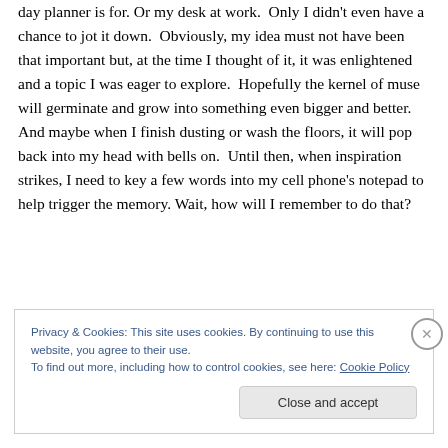day planner is for. Or my desk at work. Only I didn't even have a chance to jot it down. Obviously, my idea must not have been that important but, at the time I thought of it, it was enlightened and a topic I was eager to explore. Hopefully the kernel of muse will germinate and grow into something even bigger and better. And maybe when I finish dusting or wash the floors, it will pop back into my head with bells on. Until then, when inspiration strikes, I need to key a few words into my cell phone's notepad to help trigger the memory. Wait, how will I remember to do that?
Privacy & Cookies: This site uses cookies. By continuing to use this website, you agree to their use.
To find out more, including how to control cookies, see here: Cookie Policy